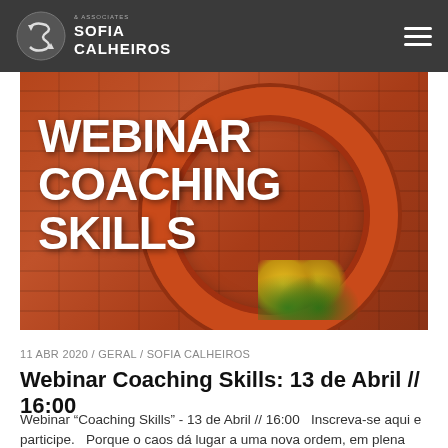SOFIA & ASSOCIATES CALHEIROS
[Figure (photo): Hero image showing a red-painted tire mounted on a brick wall used as a flower planter, with yellow pansies growing inside it. White bold text overlay reads WEBINAR COACHING SKILLS.]
11 ABR 2020 / GERAL / SOFIA CALHEIROS
Webinar Coaching Skills: 13 de Abril // 16:00
Webinar “Coaching Skills” - 13 de Abril // 16:00    Inscreva-se aqui e participe.   Porque o caos dá lugar a uma nova ordem, em plena pandemia, várias empresas deram um salto